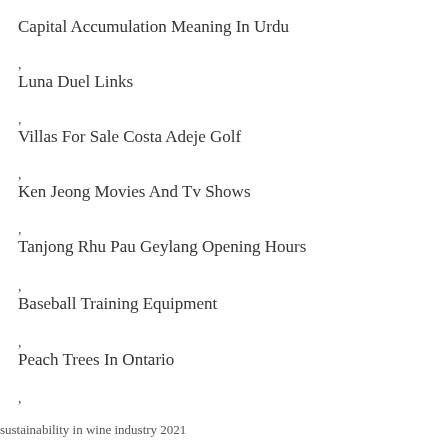Capital Accumulation Meaning In Urdu
,
Luna Duel Links
,
Villas For Sale Costa Adeje Golf
,
Ken Jeong Movies And Tv Shows
,
Tanjong Rhu Pau Geylang Opening Hours
,
Baseball Training Equipment
,
Peach Trees In Ontario
,
sustainability in wine industry 2021